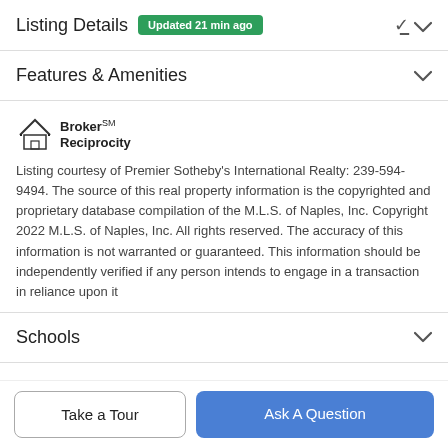Listing Details  Updated 21 min ago
Features & Amenities
[Figure (logo): Broker Reciprocity logo with house icon and text]
Listing courtesy of Premier Sotheby's International Realty: 239-594-9494. The source of this real property information is the copyrighted and proprietary database compilation of the M.L.S. of Naples, Inc. Copyright 2022 M.L.S. of Naples, Inc. All rights reserved. The accuracy of this information is not warranted or guaranteed. This information should be independently verified if any person intends to engage in a transaction in reliance upon it
Schools
Payment Calculator